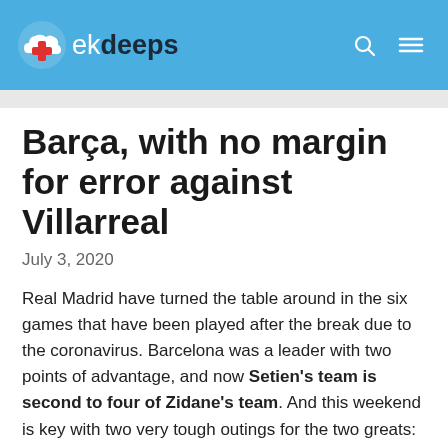ekdeeps
Barça, with no margin for error against Villarreal
July 3, 2020
Real Madrid have turned the table around in the six games that have been played after the break due to the coronavirus. Barcelona was a leader with two points of advantage, and now Setien's team is second to four of Zidane's team. And this weekend is key with two very tough outings for the two greats: Athletic and Villarreal will